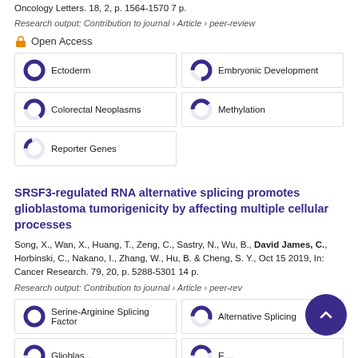Oncology Letters. 18, 2, p. 1564-1570 7 p.
Research output: Contribution to journal › Article › peer-review
Open Access
Ectoderm | Embryonic Development | Colorectal Neoplasms | Methylation | Reporter Genes
SRSF3-regulated RNA alternative splicing promotes glioblastoma tumorigenicity by affecting multiple cellular processes
Song, X., Wan, X., Huang, T., Zeng, C., Sastry, N., Wu, B., David James, C., Horbinski, C., Nakano, I., Zhang, W., Hu, B. & Cheng, S. Y., Oct 15 2019, In: Cancer Research. 79, 20, p. 5288-5301 14 p.
Research output: Contribution to journal › Article › peer-review
Serine-Arginine Splicing Factor | Alternative Splicing